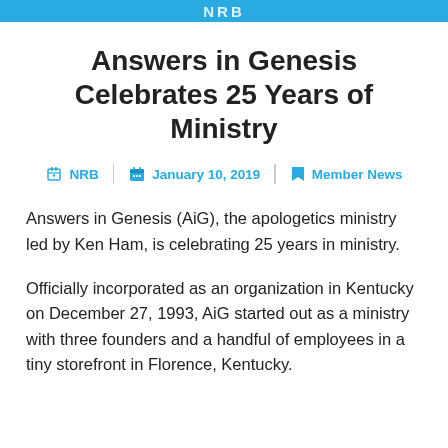NRB
Answers in Genesis Celebrates 25 Years of Ministry
NRB | January 10, 2019 | Member News
Answers in Genesis (AiG), the apologetics ministry led by Ken Ham, is celebrating 25 years in ministry.
Officially incorporated as an organization in Kentucky on December 27, 1993, AiG started out as a ministry with three founders and a handful of employees in a tiny storefront in Florence, Kentucky.